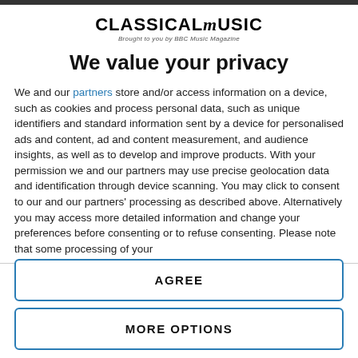[Figure (logo): Classical Music logo — 'CLASSICALMUSIC' with stylized M, subtitle 'Brought to you by BBC Music Magazine']
We value your privacy
We and our partners store and/or access information on a device, such as cookies and process personal data, such as unique identifiers and standard information sent by a device for personalised ads and content, ad and content measurement, and audience insights, as well as to develop and improve products. With your permission we and our partners may use precise geolocation data and identification through device scanning. You may click to consent to our and our partners' processing as described above. Alternatively you may access more detailed information and change your preferences before consenting or to refuse consenting. Please note that some processing of your
AGREE
MORE OPTIONS